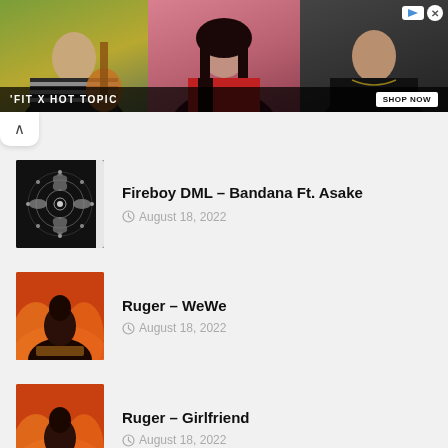[Figure (photo): Advertisement banner: 'FIT X HOT TOPIC' featuring three people — a man with guitar, a woman in red-black outfit, and a man in black shirt. 'SHOP NOW' button visible.]
Fireboy DML – Bandana Ft. Asake
August 18, 2022
Ruger – WeWe
August 18, 2022
Ruger – Girlfriend
August 18, 2022
Adekunle Gold – 5 Star